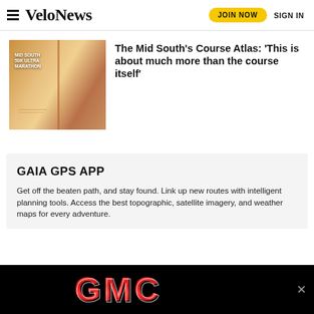VeloNews | JOIN NOW | SIGN IN
[Figure (photo): A hand holding open a booklet titled 'MID SOUTH 50K ULTRA MARATHON' showing an event course atlas/guide]
The Mid South’s Course Atlas: ‘This is about much more than the course itself’
GAIA GPS APP
Get off the beaten path, and stay found. Link up new routes with intelligent planning tools. Access the best topographic, satellite imagery, and weather maps for every adventure. Al... se...
[Figure (logo): GMC logo advertisement banner with red GMC lettering on black background with a close X button]